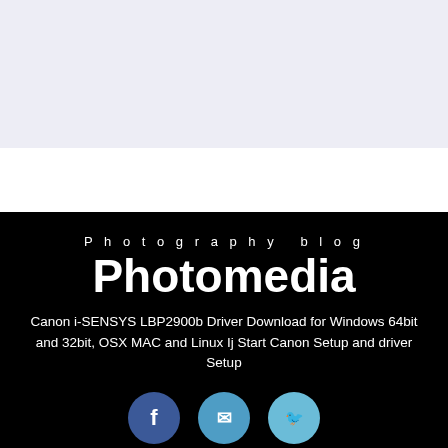[Figure (screenshot): Top gray/lavender section of a website, partial view of a search or navigation bar element]
Search Here
Photography blog
Photomedia
Canon i-SENSYS LBP2900b Driver Download for Windows 64bit and 32bit, OSX MAC and Linux Ij Start Canon Setup and driver Setup
[Figure (illustration): Three partially visible social media icon circles (Facebook blue, medium blue, light blue) at the bottom of the page]